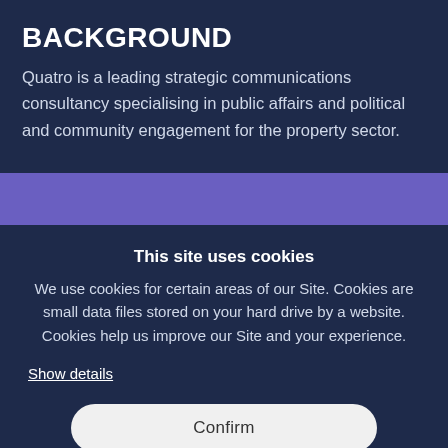BACKGROUND
Quatro is a leading strategic communications consultancy specialising in public affairs and political and community engagement for the property sector.
This site uses cookies
We use cookies for certain areas of our Site. Cookies are small data files stored on your hard drive by a website. Cookies help us improve our Site and your experience.
Show details
Confirm